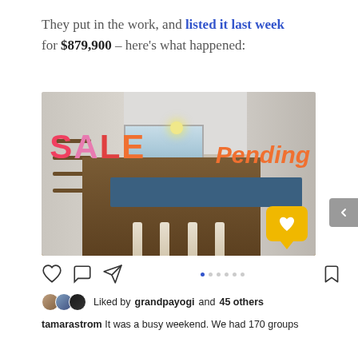They put in the work, and listed it last week for $879,900 – here's what happened:
[Figure (photo): Instagram post showing a modern kitchen interior with open plan layout, wooden island, white chairs, and stainless steel appliances. Overlaid text reads 'SALE Pending' in orange/pink letters with a yellow heart speech bubble icon.]
[Figure (screenshot): Instagram action bar with heart, comment, share icons, dot carousel indicators, and bookmark icon.]
Liked by grandpayogi and 45 others
tamarastrom It was a busy weekend. We had 170 groups